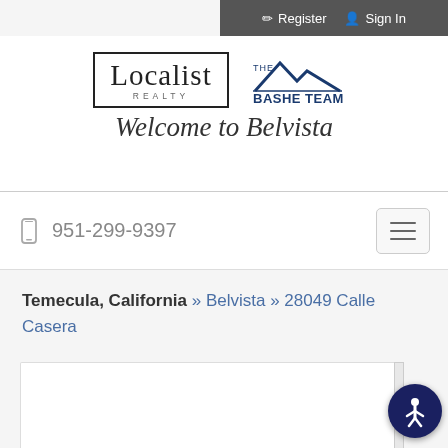Register  Sign In
[Figure (logo): Localist Realty logo in a rectangular border next to The Bashe Team logo with mountain roofline graphic]
Welcome to Belvista
951-299-9397
Temecula, California » Belvista » 28049 Calle Casera